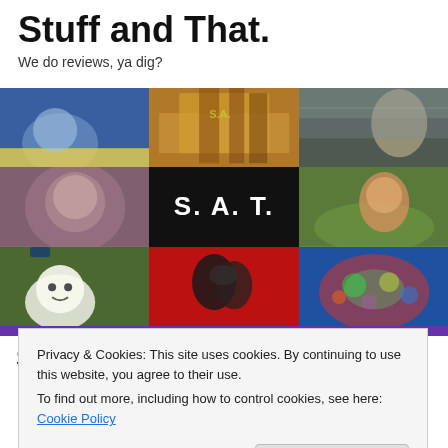Stuff and That.
We do reviews, ya dig?
[Figure (illustration): Website banner grid showing 9 image panels: movie/TV stills including fantasy warrior, animated figure, medieval cityscape, blurred portrait, S.A.T. logo on black background, child in colorful jacket, Ghostbusters Stay Puft marshmallow man, kissing silhouette on red background, colorful monster art.]
SAT500: Best Movie Of The
Privacy & Cookies: This site uses cookies. By continuing to use this website, you agree to their use.
To find out more, including how to control cookies, see here: Cookie Policy
Close and accept